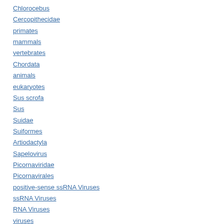Chlorocebus
Cercopithecidae
primates
mammals
vertebrates
Chordata
animals
eukaryotes
Sus scrofa
Sus
Suidae
Suiformes
Artiodactyla
Sapelovirus
Picornaviridae
Picornavirales
positive-sense ssRNA Viruses
ssRNA Viruses
RNA Viruses
viruses
Record Number
20183284663